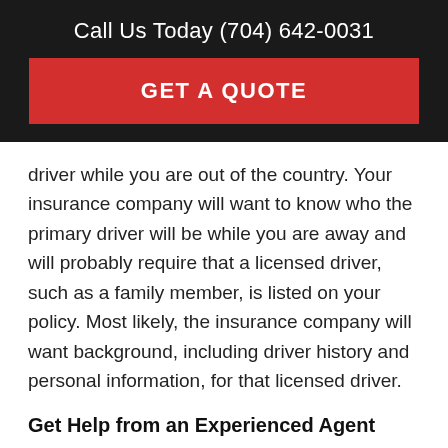Call Us Today (704) 642-0031
[Figure (other): Red GET A QUOTE button on dark background]
driver while you are out of the country. Your insurance company will want to know who the primary driver will be while you are away and will probably require that a licensed driver, such as a family member, is listed on your policy. Most likely, the insurance company will want background, including driver history and personal information, for that licensed driver.
Get Help from an Experienced Agent
If you are planning an extended trip abroad, you have a